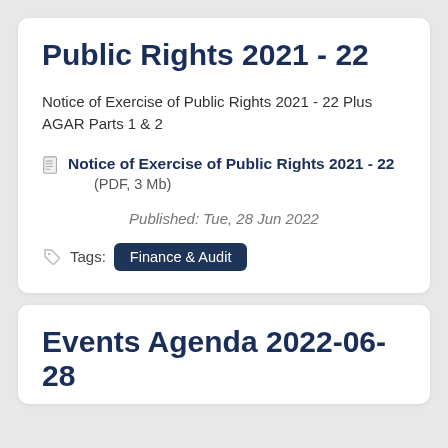Public Rights 2021 - 22
Notice of Exercise of Public Rights 2021 - 22 Plus AGAR Parts 1 & 2
Notice of Exercise of Public Rights 2021 - 22
(PDF, 3 Mb)
Published: Tue, 28 Jun 2022
Tags: Finance & Audit
Events Agenda 2022-06-28